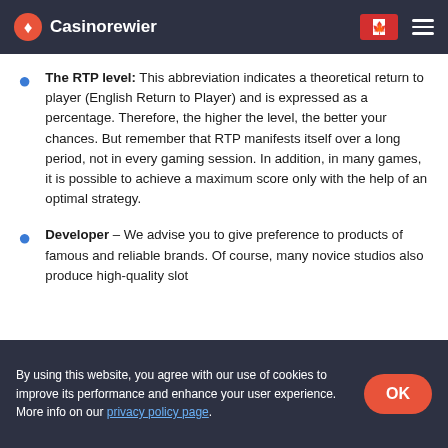Casinorewier
The RTP level: This abbreviation indicates a theoretical return to player (English Return to Player) and is expressed as a percentage. Therefore, the higher the level, the better your chances. But remember that RTP manifests itself over a long period, not in every gaming session. In addition, in many games, it is possible to achieve a maximum score only with the help of an optimal strategy.
Developer – We advise you to give preference to products of famous and reliable brands. Of course, many novice studios also produce high-quality slot
By using this website, you agree with our use of cookies to improve its performance and enhance your user experience. More info on our privacy policy page.